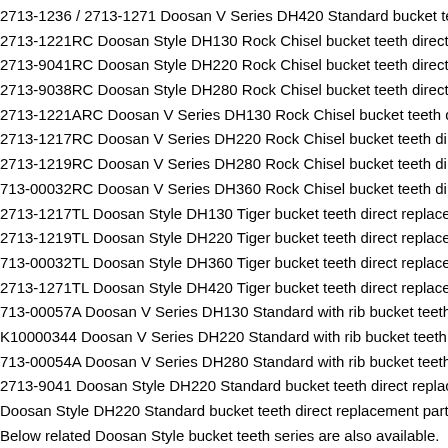2713-1236 / 2713-1271 Doosan V Series DH420 Standard bucket teeth
2713-1221RC Doosan Style DH130 Rock Chisel bucket teeth direct rep
2713-9041RC Doosan Style DH220 Rock Chisel bucket teeth direct rep
2713-9038RC Doosan Style DH280 Rock Chisel bucket teeth direct rep
2713-1221ARC Doosan V Series DH130 Rock Chisel bucket teeth dire
2713-1217RC Doosan V Series DH220 Rock Chisel bucket teeth direct
2713-1219RC Doosan V Series DH280 Rock Chisel bucket teeth direct
713-00032RC Doosan V Series DH360 Rock Chisel bucket teeth direct
2713-1217TL Doosan Style DH130 Tiger bucket teeth direct replaceme
2713-1219TL Doosan Style DH220 Tiger bucket teeth direct replaceme
713-00032TL Doosan Style DH360 Tiger bucket teeth direct replaceme
2713-1271TL Doosan Style DH420 Tiger bucket teeth direct replaceme
713-00057A Doosan V Series DH130 Standard with rib bucket teeth dir
K10000344 Doosan V Series DH220 Standard with rib bucket teeth dire
713-00054A Doosan V Series DH280 Standard with rib bucket teeth dir
2713-9041 Doosan Style DH220 Standard bucket teeth direct replaceme
Doosan Style DH220 Standard bucket teeth direct replacement parts.
Below related Doosan Style bucket teeth series are also available.
2713-1221 Doosan Style DH130 Standard bucket teeth direct replaceme